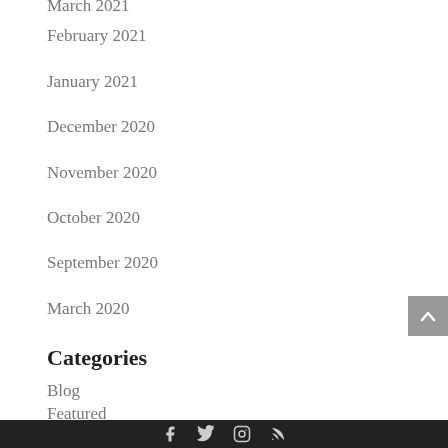March 2021
February 2021
January 2021
December 2020
November 2020
October 2020
September 2020
March 2020
Categories
Blog
Featured
Podcast